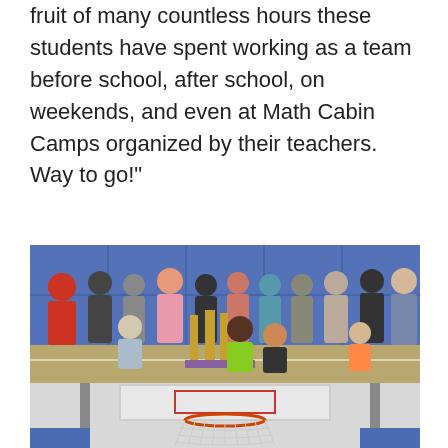fruit of many countless hours these students have spent working as a team before school, after school, on weekends, and even at Math Cabin Camps organized by their teachers. Way to go!"
[Figure (photo): Group photo of students and teachers in a gymnasium, posing with trophies in front of a blue padded wall. Students are arranged in two rows.]
[Figure (photo): Close-up photo of a basketball hoop and net in a gymnasium with a blue padded wall in the background.]